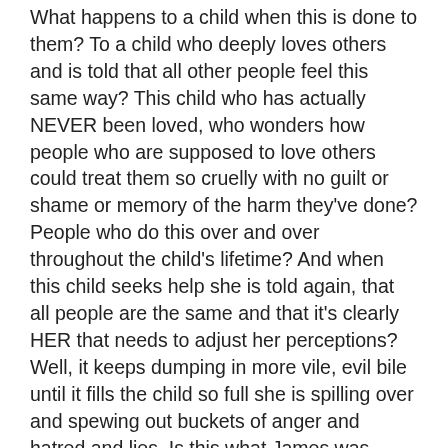What happens to a child when this is done to them? To a child who deeply loves others and is told that all other people feel this same way? This child who has actually NEVER been loved, who wonders how people who are supposed to love others could treat them so cruelly with no guilt or shame or memory of the harm they've done? People who do this over and over throughout the child's lifetime? And when this child seeks help she is told again, that all people are the same and that it's clearly HER that needs to adjust her perceptions? Well, it keeps dumping in more vile, evil bile until it fills the child so full she is spilling over and spewing out buckets of anger and hatred and lies. Is this what James was talking about when he said that